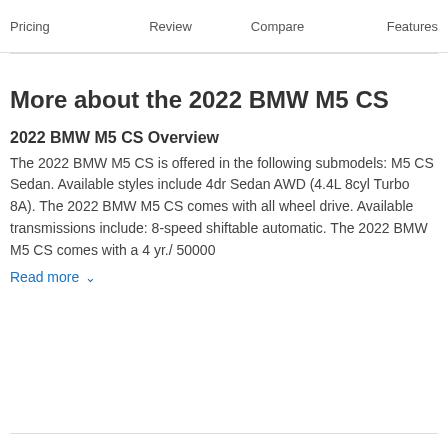Pricing   Review   Compare   Features
More about the 2022 BMW M5 CS
2022 BMW M5 CS Overview
The 2022 BMW M5 CS is offered in the following submodels: M5 CS Sedan. Available styles include 4dr Sedan AWD (4.4L 8cyl Turbo 8A). The 2022 BMW M5 CS comes with all wheel drive. Available transmissions include: 8-speed shiftable automatic. The 2022 BMW M5 CS comes with a 4 yr./ 50000
Read more ∨